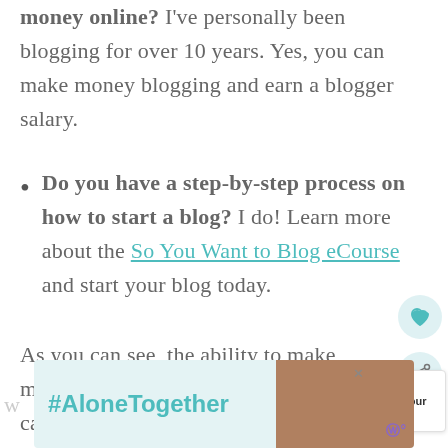money online? I've personally been blogging for over 10 years. Yes, you can make money blogging and earn a blogger salary.
Do you have a step-by-step process on how to start a blog? I do! Learn more about the So You Want to Blog eCourse and start your blog today.
As you can see, the ability to make money blogging is very possible and can be a great way to make money online.
[Figure (screenshot): WHAT'S NEXT panel with thumbnail and text 'Tips to Make Your Blog...']
[Figure (screenshot): Ad banner with #AloneTogether text and image of two people]